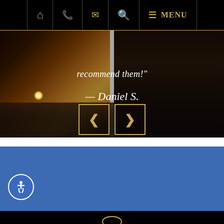[Figure (screenshot): Mobile website navigation bar with home, phone, email, search, and menu icons in gold on black background]
[Figure (photo): Sunset over water with dark building silhouette on right, used as testimonial section background]
recommend them!"
— Daniel S.
[Figure (other): Previous and next navigation arrow buttons with gold borders on semi-transparent background]
[Figure (other): Blue section below hero image, solid blue background]
[Figure (other): Accessibility icon - wheelchair symbol in white on blue circle]